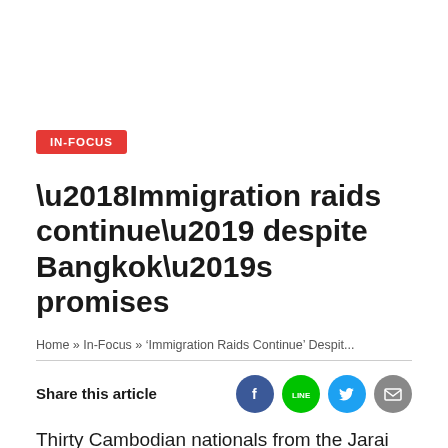IN-FOCUS
‘Immigration raids continue’ despite Bangkok’s promises
Home » In-Focus » ‘Immigration Raids Continue’ Despit...
Share this article
Thirty Cambodian nationals from the Jarai